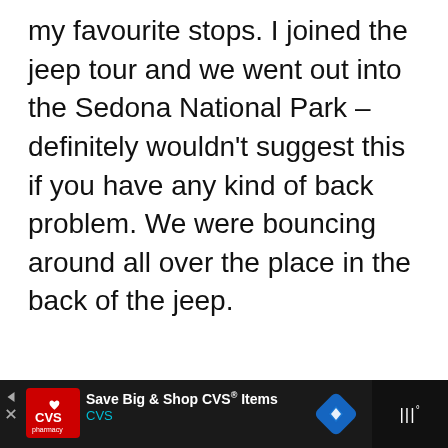my favourite stops. I joined the jeep tour and we went out into the Sedona National Park – definitely wouldn't suggest this if you have any kind of back problem. We were bouncing around all over the place in the back of the jeep.
[Figure (other): Light gray placeholder content box with a teal heart FAB button and a white share FAB button on the right side]
[Figure (other): Dark advertisement bar at the bottom showing CVS pharmacy ad with logo, 'Save Big & Shop CVS® Items' text, navigation arrow icon, and a dark right panel with weather/signal icons]